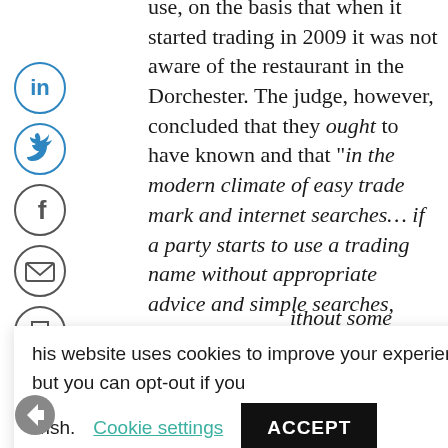use, on the basis that when it started trading in 2009 it was not aware of the restaurant in the Dorchester. The judge, however, concluded that they ought to have known and that “in the modern climate of easy trade mark and internet searches… if a party starts to use a trading name without appropriate advice and simple searches, such use will not have [been commenced …] without some [due diligence]”
[Figure (other): Social media sharing icons: LinkedIn, Twitter, Facebook, Email, Print — displayed as circular icon buttons in a vertical column on the left side of the page]
This website uses cookies to improve your experience. We'll assume you're ok with this, but you can opt-out if you wish. Cookie settings ACCEPT
that brand ... undertake trade mark and/or internet clearance